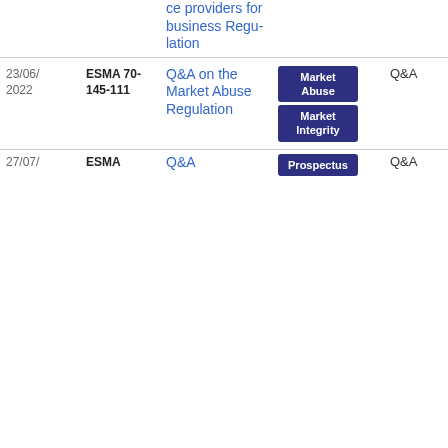| Date | Reference | Title | Tags | Type | Download |
| --- | --- | --- | --- | --- | --- |
|  |  | ce providers for business Regulation |  |  |  |
| 23/06/2022 | ESMA70-145-111 | Q&A on the Market Abuse Regulation | Market Abuse | Market Integrity | Q&A | PDF 470.97 KB |
| 27/07/ | ESMA | Q&A | Prospectus | Q&A | PD |